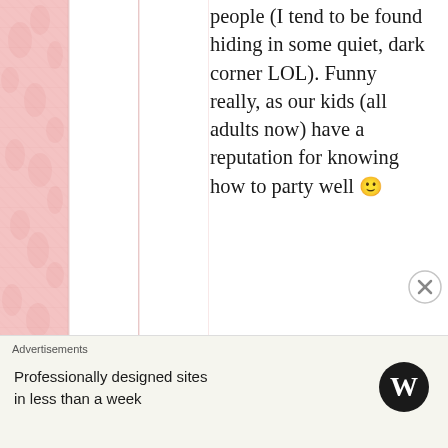people (I tend to be found hiding in some quiet, dark corner LOL). Funny really, as our kids (all adults now) have a reputation for knowing how to party well 🙂
★ Like
KAY KAUFFMAN
July 15, 2013 at 10:35 am
Advertisements
Professionally designed sites in less than a week